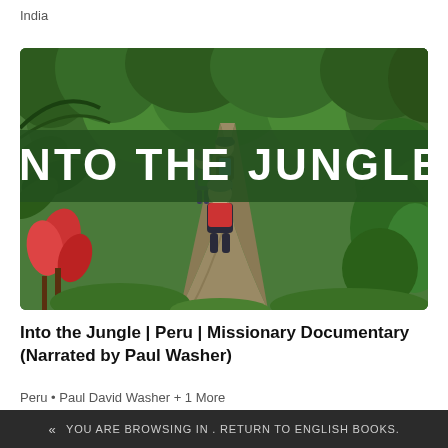India
[Figure (photo): Book/video thumbnail showing hikers walking into a jungle trail surrounded by lush green tropical vegetation, with a dark green banner overlay reading INTO THE JUNGLE in large white bold letters.]
Into the Jungle | Peru | Missionary Documentary (Narrated by Paul Washer)
Peru • Paul David Washer + 1 More
« YOU ARE BROWSING IN . RETURN TO ENGLISH BOOKS.